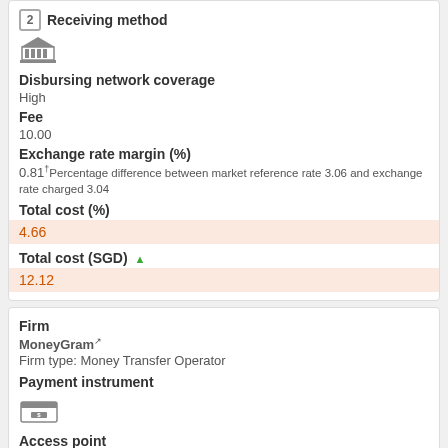Receiving method
[Figure (illustration): Bank/institution icon (building with columns)]
Disbursing network coverage
High
Fee
10.00
Exchange rate margin (%)
0.81 Percentage difference between market reference rate 3.06 and exchange rate charged 3.04
Total cost (%)
4.66
Total cost (SGD)
12.12
Firm
MoneyGram
Firm type: Money Transfer Operator
Payment instrument
[Figure (illustration): Cash/wallet icon]